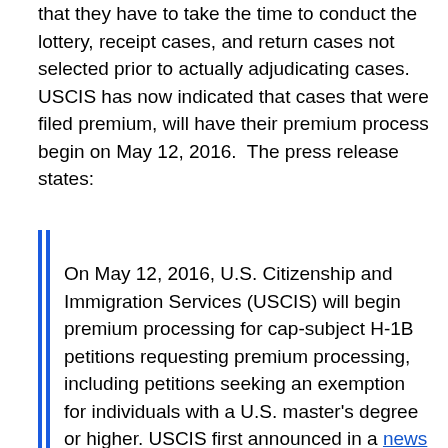that they have to take the time to conduct the lottery, receipt cases, and return cases not selected prior to actually adjudicating cases. USCIS has now indicated that cases that were filed premium, will have their premium process begin on May 12, 2016.  The press release states:
On May 12, 2016, U.S. Citizenship and Immigration Services (USCIS) will begin premium processing for cap-subject H-1B petitions requesting premium processing, including petitions seeking an exemption for individuals with a U.S. master's degree or higher. USCIS first announced in a news release that it would temporarily adjust its premium processing practice due to the